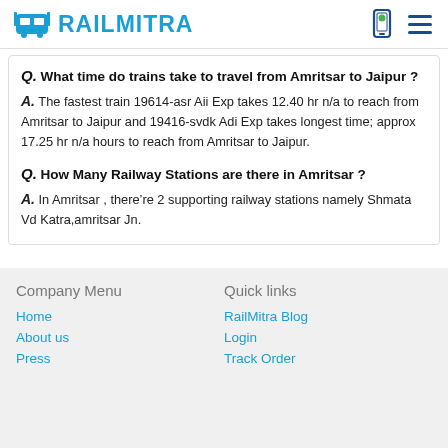RAILMITRA
Q. What time do trains take to travel from Amritsar to Jaipur ?
A. The fastest train 19614-asr Aii Exp takes 12.40 hr n/a to reach from Amritsar to Jaipur and 19416-svdk Adi Exp takes longest time; approx 17.25 hr n/a hours to reach from Amritsar to Jaipur.
Q. How Many Railway Stations are there in Amritsar ?
A. In Amritsar , there’re 2 supporting railway stations namely Shmata Vd Katra,amritsar Jn.
Company Menu
Quick links
Home
About us
Press
RailMitra Blog
Login
Track Order